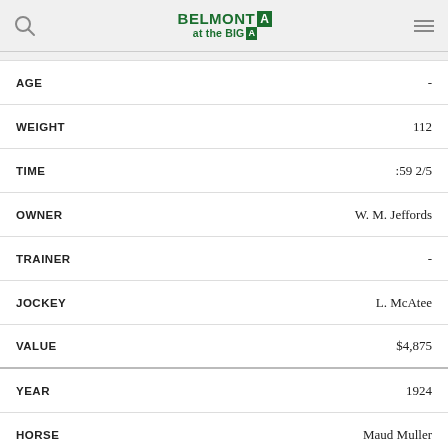BELMONT at the BIG A
| Field | Value |
| --- | --- |
| AGE | - |
| WEIGHT | 112 |
| TIME | :59 2/5 |
| OWNER | W. M. Jeffords |
| TRAINER | - |
| JOCKEY | L. McAtee |
| VALUE | $4,875 |
| YEAR | 1924 |
| HORSE | Maud Muller |
| AGE |  |